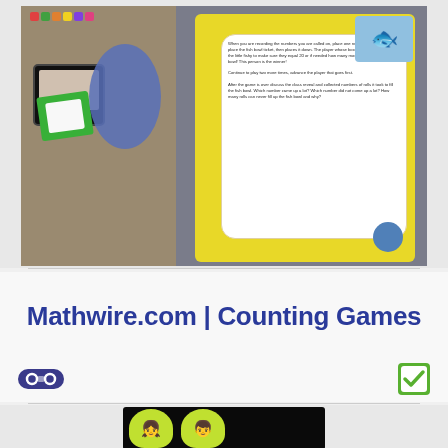[Figure (photo): Photo of a classroom table with a math counting game board showing a fish bowl game with yellow cards, manipulatives, a gray board, and a blue oval character piece]
Mathwire.com | Counting Games
[Figure (illustration): Illustration of two cartoon children inside green light bulb shapes on a black background]
[Figure (logo): Gamepad/controller icon in dark blue]
[Figure (other): Green checkbox/checkmark icon]